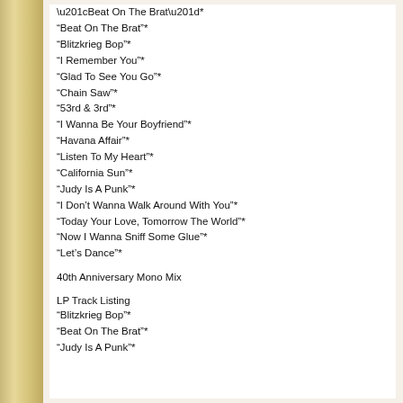“Beat On The Brat”*
“Blitzkrieg Bop”*
“I Remember You”*
“Glad To See You Go”*
“Chain Saw”*
“53rd & 3rd”*
“I Wanna Be Your Boyfriend”*
“Havana Affair”*
“Listen To My Heart”*
“California Sun”*
“Judy Is A Punk”*
“I Don’t Wanna Walk Around With You”*
“Today Your Love, Tomorrow The World”*
“Now I Wanna Sniff Some Glue”*
“Let’s Dance”*
40th Anniversary Mono Mix
LP Track Listing
“Blitzkrieg Bop”*
“Beat On The Brat”*
“Judy Is A Punk”*